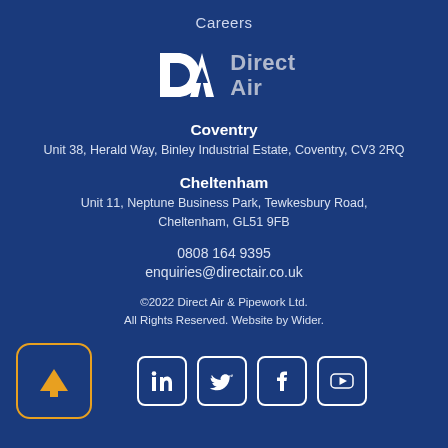Careers
[Figure (logo): Direct Air logo with DA monogram and 'Direct Air' text in grey]
Coventry
Unit 38, Herald Way, Binley Industrial Estate, Coventry, CV3 2RQ
Cheltenham
Unit 11, Neptune Business Park, Tewkesbury Road, Cheltenham, GL51 9FB
0808 164 9395
enquiries@directair.co.uk
©2022 Direct Air & Pipework Ltd.
All Rights Reserved. Website by Wider.
[Figure (infographic): Orange upward arrow button (scroll to top) on left, and four social media icons (LinkedIn, Twitter, Facebook, YouTube) on the right]